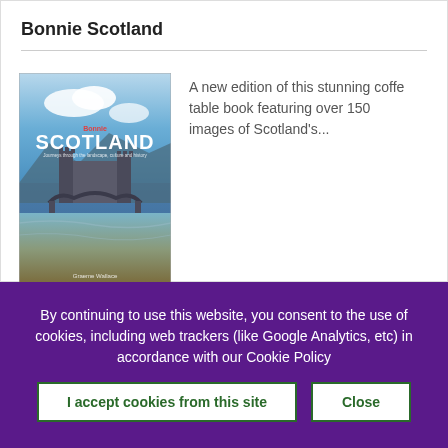Bonnie Scotland
[Figure (photo): Book cover of 'Bonnie Scotland' showing a Scottish castle reflected in water with blue sky and clouds]
A new edition of this stunning coffe table book featuring over 150 images of Scotland's...
By continuing to use this website, you consent to the use of cookies, including web trackers (like Google Analytics, etc) in accordance with our Cookie Policy
I accept cookies from this site
Close